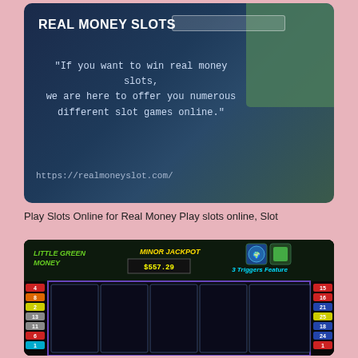[Figure (screenshot): Real Money Slots promotional image with dark navy/teal background, bold white title 'REAL MONEY SLOTS', a search bar, quote text about winning real money slots, and URL https://realmoneyslot.com/]
Play Slots Online for Real Money Play slots online, Slot
[Figure (screenshot): Little Green Money slot game screenshot showing slot reels with cartoon characters, Minor Jackpot of $557.29, numbered paylines on both sides, 3 Triggers Feature icons in top right]